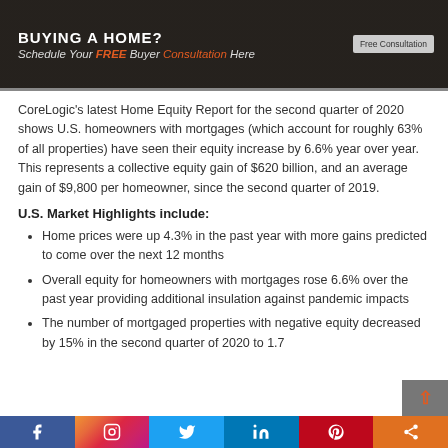[Figure (photo): Banner advertisement: BUYING A HOME? Schedule Your FREE Buyer Consultation Here. Button: Free Consultation.]
CoreLogic's latest Home Equity Report for the second quarter of 2020 shows U.S. homeowners with mortgages (which account for roughly 63% of all properties) have seen their equity increase by 6.6% year over year. This represents a collective equity gain of $620 billion, and an average gain of $9,800 per homeowner, since the second quarter of 2019.
U.S. Market Highlights include:
Home prices were up 4.3% in the past year with more gains predicted to come over the next 12 months
Overall equity for homeowners with mortgages rose 6.6% over the past year providing additional insulation against pandemic impacts
The number of mortgaged properties with negative equity decreased by 15% in the second quarter of 2020 to 1.7